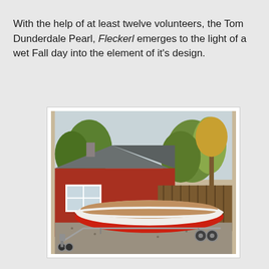With the help of at least twelve volunteers, the Tom Dunderdale Pearl, Fleckerl emerges to the light of a wet Fall day into the element of it's design.
[Figure (photo): A red and white wooden boat on a trailer parked in a gravel driveway beside a red ranch-style house, surrounded by trees with autumn foliage.]